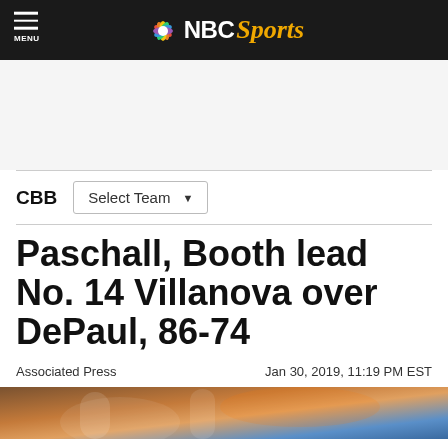NBC Sports
CBB  Select Team
Paschall, Booth lead No. 14 Villanova over DePaul, 86-74
Associated Press
Jan 30, 2019, 11:19 PM EST
[Figure (photo): Basketball action photo, bottom of page]